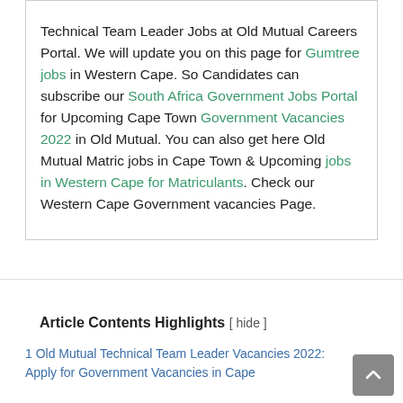Technical Team Leader Jobs at Old Mutual Careers Portal. We will update you on this page for Gumtree jobs in Western Cape. So Candidates can subscribe our South Africa Government Jobs Portal for Upcoming Cape Town Government Vacancies 2022 in Old Mutual. You can also get here Old Mutual Matric jobs in Cape Town & Upcoming jobs in Western Cape for Matriculants. Check our Western Cape Government vacancies Page.
Article Contents Highlights [ hide ]
1 Old Mutual Technical Team Leader Vacancies 2022: Apply for Government Vacancies in Cape